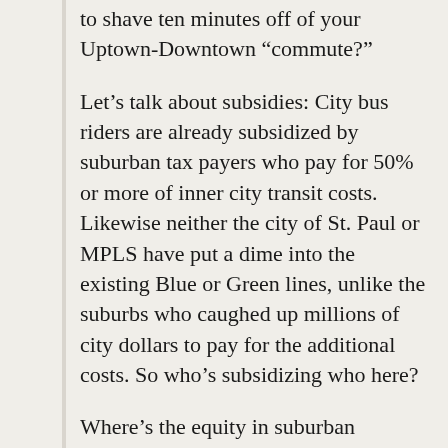to shave ten minutes off of your Uptown-Downtown “commute?”
Let’s talk about subsidies: City bus riders are already subsidized by suburban tax payers who pay for 50% or more of inner city transit costs. Likewise neither the city of St. Paul or MPLS have put a dime into the existing Blue or Green lines, unlike the suburbs who caughed up millions of city dollars to pay for the additional costs. So who’s subsidizing who here?
Where’s the equity in suburban taxpayers building transit systems they can’t use? You want to build rail to move your car-less denizens of the